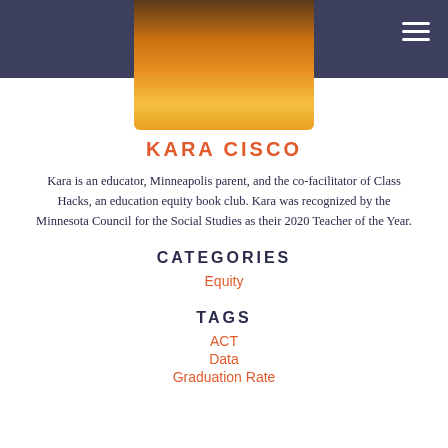EdAllies
[Figure (photo): Partial photo of a person in a yellow shirt, cropped at top]
KARA CISCO
Kara is an educator, Minneapolis parent, and the co-facilitator of Class Hacks, an education equity book club. Kara was recognized by the Minnesota Council for the Social Studies as their 2020 Teacher of the Year.
CATEGORIES
Equity
TAGS
ACT
Data
Graduation Rate